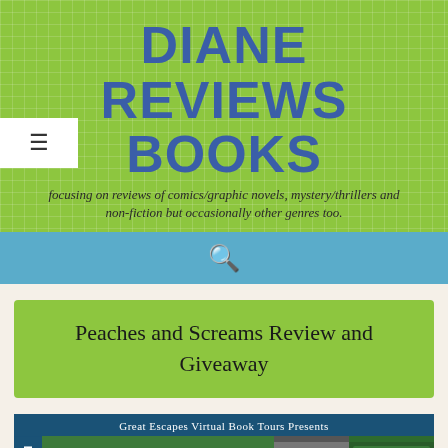DIANE REVIEWS BOOKS
focusing on reviews of comics/graphic novels, mystery/thrillers and non-fiction but occasionally other genres too.
Peaches and Screams Review and Giveaway
[Figure (screenshot): Great Escapes Virtual Book Tours banner for 'Peaches and Schemes: A Georgia B&B Mystery', showing the book cover and an author photo, with 'COZY M' spine text on the left side.]